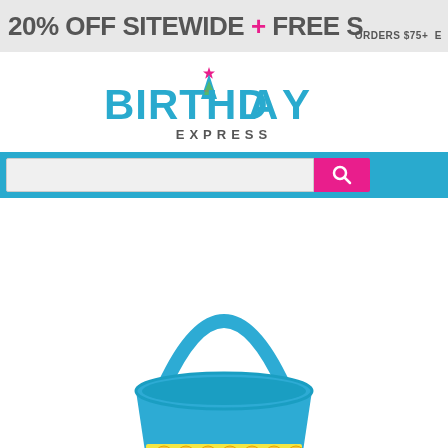20% OFF SITEWIDE + FREE S  ORDERS $75+ E
[Figure (logo): Birthday Express logo with party hat over the A, teal/cyan lettering and EXPRESS in gray]
[Figure (screenshot): Search bar with gray input field and pink/magenta search button on teal/cyan background]
[Figure (photo): Blue plastic bucket/pail with emoji characters printed around the body and a blue arc handle, shown from slightly above on white background]